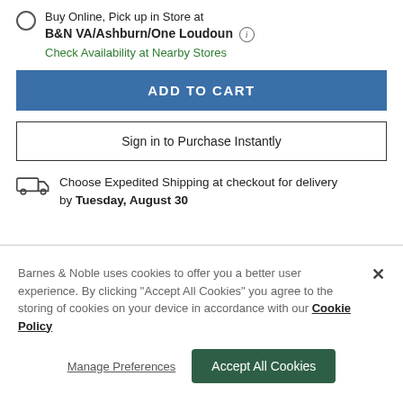Buy Online, Pick up in Store at B&N VA/Ashburn/One Loudoun
Check Availability at Nearby Stores
ADD TO CART
Sign in to Purchase Instantly
Choose Expedited Shipping at checkout for delivery by Tuesday, August 30
Barnes & Noble uses cookies to offer you a better user experience. By clicking "Accept All Cookies" you agree to the storing of cookies on your device in accordance with our Cookie Policy
Manage Preferences
Accept All Cookies